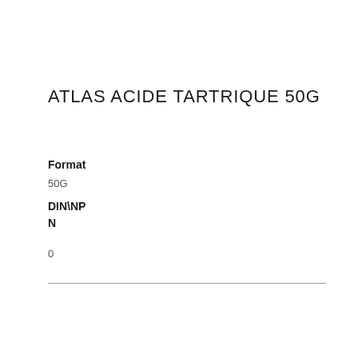ATLAS ACIDE TARTRIQUE 50G
Format
50G
DIN\NP
N
0